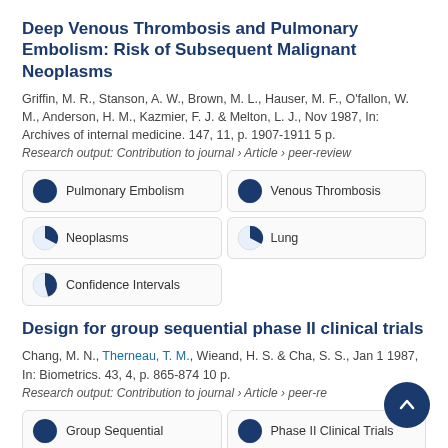Deep Venous Thrombosis and Pulmonary Embolism: Risk of Subsequent Malignant Neoplasms
Griffin, M. R., Stanson, A. W., Brown, M. L., Hauser, M. F., O'fallon, W. M., Anderson, H. M., Kazmier, F. J. & Melton, L. J., Nov 1987, In: Archives of internal medicine. 147, 11, p. 1907-1911 5 p.
Research output: Contribution to journal › Article › peer-review
[Figure (infographic): Fingerprint keyword circles: Pulmonary Embolism (100%), Venous Thrombosis (100%), Neoplasms (~60%), Lung (~60%), Confidence Intervals (~25%)]
Design for group sequential phase II clinical trials
Chang, M. N., Therneau, T. M., Wieand, H. S. & Cha, S. S., Jan 1 1987, In: Biometrics. 43, 4, p. 865-874 10 p.
Research output: Contribution to journal › Article › peer-review
[Figure (infographic): Fingerprint keyword circles: Group Sequential (100%), Phase II Clinical Trials (100%)]